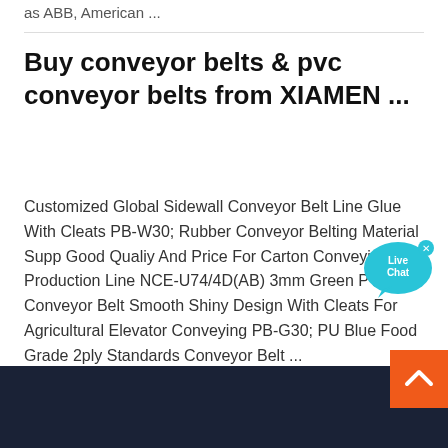as ABB, American ...
Buy conveyor belts & pvc conveyor belts from XIAMEN ...
Customized Global Sidewall Conveyor Belt Line Glue With Cleats PB-W30; Rubber Conveyor Belting Material Supply Good Qualiy And Price For Carton Conveying Production Line NCE-U74/4D(AB) 3mm Green PVC Conveyor Belt Smooth Shiny Design With Cleats For Agricultural Elevator Conveying PB-G30; PU Blue Food Grade 2ply Standards Conveyor Belt ...
[Figure (other): Live Chat widget bubble overlay in cyan/blue color with 'Live Chat' text and an X close button]
[Figure (other): Orange back-to-top button with upward chevron arrow, positioned in lower right corner over dark navy footer]